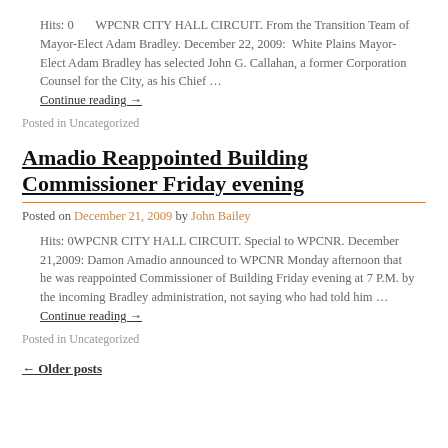Hits: 0       WPCNR CITY HALL CIRCUIT. From the Transition Team of Mayor-Elect Adam Bradley. December 22, 2009:  White Plains Mayor-Elect Adam Bradley has selected John G. Callahan, a former Corporation Counsel for the City, as his Chief …
Continue reading →
Posted in Uncategorized
Amadio Reappointed Building Commissioner Friday evening
Posted on December 21, 2009 by John Bailey
Hits: 0WPCNR CITY HALL CIRCUIT. Special to WPCNR. December 21,2009: Damon Amadio announced to WPCNR Monday afternoon that he was reappointed Commissioner of Building Friday evening at 7 P.M. by the incoming Bradley administration, not saying who had told him …
Continue reading →
Posted in Uncategorized
← Older posts